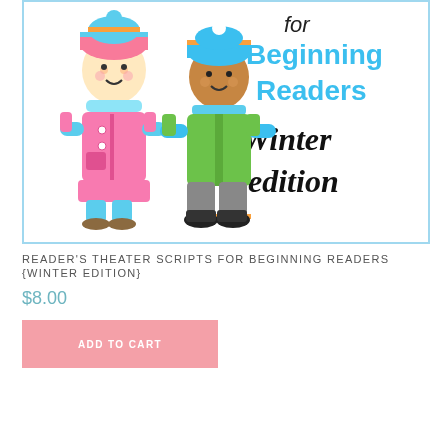[Figure (illustration): Two cartoon children dressed in winter clothing with the text 'for Beginning Readers Winter edition' on a white background with a light blue border. One child is a girl in a pink coat with a striped hat, the other is a boy in a green vest with a blue hat.]
READER'S THEATER SCRIPTS FOR BEGINNING READERS {WINTER EDITION}
$8.00
ADD TO CART